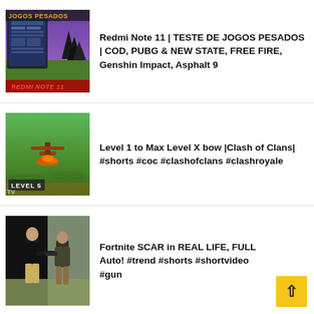[Figure (screenshot): Thumbnail of Redmi Note 11 gaming test video showing phone screen with games and 'JOGOS PESADOS' / 'REDMI NOTE 11' text overlay]
Redmi Note 11 | TESTE DE JOGOS PESADOS | COD, PUBG & NEW STATE, FREE FIRE, Genshin Impact, Asphalt 9
[Figure (screenshot): Clash of Clans gameplay thumbnail showing a structure on green grass with 'LEVEL 5' text label]
Level 1 to Max Level X bow |Clash of Clans| #shorts #coc #clashofclans #clashroyale
[Figure (photo): Photo of two people outdoors, one appears to be shooting a gun, dark background on left]
Fortnite SCAR in REAL LIFE, FULL Auto! #trend #shorts #shortvideo #gun